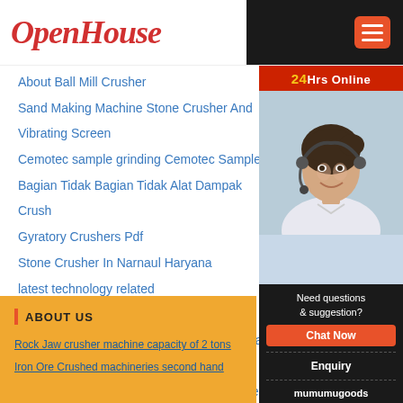OpenHouse
About Ball Mill Crusher
Sand Making Machine Stone Crusher And Vibrating Screen
Cemotec sample grinding Cemotec Sample
Bagian Tidak Bagian Tidak Alat Dampak Crush...
Gyratory Crushers Pdf
Stone Crusher In Narnaul Haryana
latest technology related
Coning Of Rock Sample
Famous 250X400 Jaw Crusher 250X400 Jaw C...
High Efficiency Cone Crusher Maintenance
Concrete Building Construction Process Flow C...
[Figure (photo): Customer service woman with headset smiling, with '24Hrs Online' banner, 'Need questions & suggestion?', 'Chat Now' button, 'Enquiry', and 'mumumugoods' labels]
ABOUT US
Rock Jaw crusher machine capacity of 2 tons
Iron Ore Crushed machineries second hand